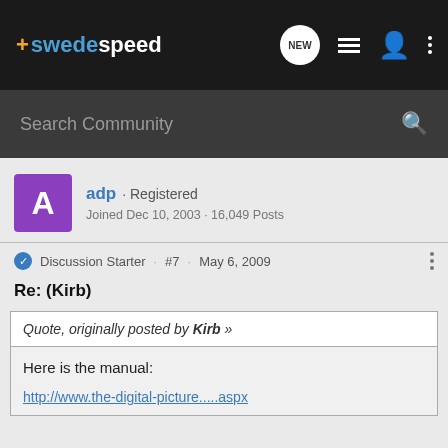+swedespeed
Search Community
adp · Registered
Joined Dec 10, 2003 · 16,049 Posts
Discussion Starter · #7 · May 6, 2009
Re: (Kirb)
Quote, originally posted by Kirb »
Here is the manual:
http://www.the-digital-picture.....aspx